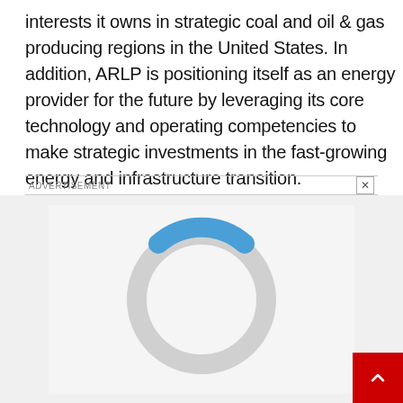interests it owns in strategic coal and oil & gas producing regions in the United States. In addition, ARLP is positioning itself as an energy provider for the future by leveraging its core technology and operating competencies to make strategic investments in the fast-growing energy and infrastructure transition.
ADVERTISEMENT
[Figure (donut-chart): Partially loaded donut chart showing a blue arc on the top portion (approximately 40% filled) against a light gray ring, on a light gray background. Appears to be a loading/progress indicator.]